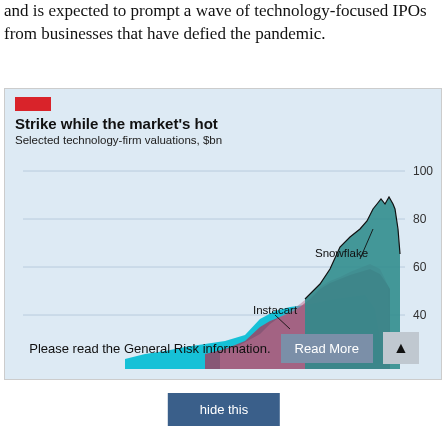and is expected to prompt a wave of technology-focused IPOs from businesses that have defied the pandemic.
[Figure (area-chart): Area chart showing valuations of Snowflake, Instacart, and DoorDash over time, with y-axis values 40, 60, 80, 100]
Please read the General Risk information.